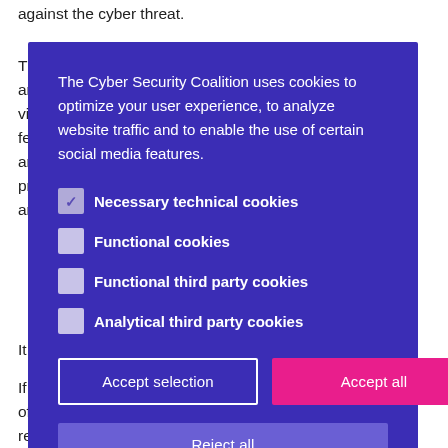against the cyber threat.
The FIC is the main European event on digital security and visitors features and privacy public and.
[Figure (screenshot): Cookie consent overlay modal on the Cyber Security Coalition website with purple background, showing cookie preference checkboxes and accept/reject buttons.]
If of June, come and meet us on our stand, with representatives of the Cyber Security Coalition, Digital